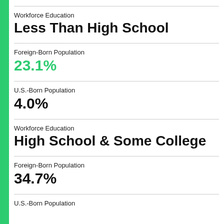Workforce Education
Less Than High School
Foreign-Born Population
23.1%
U.S.-Born Population
4.0%
Workforce Education
High School & Some College
Foreign-Born Population
34.7%
U.S.-Born Population